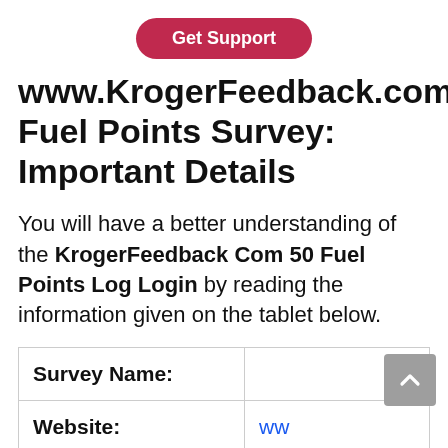[Figure (other): Red rounded rectangle button with white text 'Get Support']
www.KrogerFeedback.com Fuel Points Survey: Important Details
You will have a better understanding of the KrogerFeedback Com 50 Fuel Points Log Login by reading the information given on the tablet below.
| Survey Name: |  |
| --- | --- |
| Website: | ww... |
| Brand Name: |  |